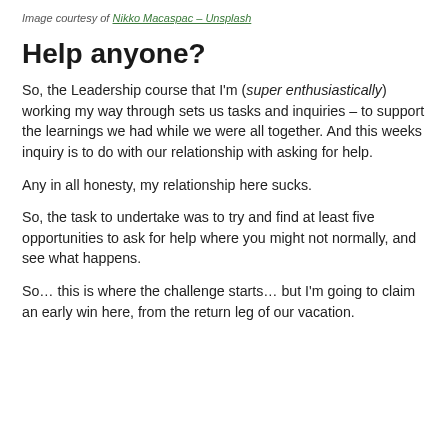Image courtesy of Nikko Macaspac – Unsplash
Help anyone?
So, the Leadership course that I'm (super enthusiastically) working my way through sets us tasks and inquiries – to support the learnings we had while we were all together. And this weeks inquiry is to do with our relationship with asking for help.
Any in all honesty, my relationship here sucks.
So, the task to undertake was to try and find at least five opportunities to ask for help where you might not normally, and see what happens.
So… this is where the challenge starts… but I'm going to claim an early win here, from the return leg of our vacation.